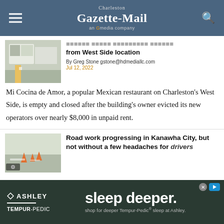Charleston Gazette-Mail — an Civitas company
Mi Cocina de Amor evicted, owner switches from West Side location
By Greg Stone gstone@hdmediallc.com
Jul 12, 2022
Mi Cocina de Amor, a popular Mexican restaurant on Charleston's West Side, is empty and closed after the building's owner evicted its new operators over nearly $8,000 in unpaid rent.
Road work progressing in Kanawha City, but not without a few headaches for drivers
[Figure (photo): Advertisement: Ashley Tempur-Pedic — sleep deeper. shop for deeper Tempur-Pedic® sleep at Ashley.]